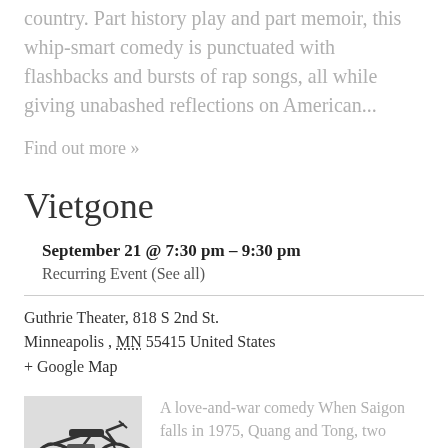country. Part history play and part memoir, this whip-smart comedy is punctuated with flashbacks and bursts of rap songs, all while giving unabashed reflections on American...
Find out more »
Vietgone
September 21 @ 7:30 pm – 9:30 pm
Recurring Event (See all)
Guthrie Theater, 818 S 2nd St.
Minneapolis , MN 55415 United States
+ Google Map
[Figure (photo): Black and white photo of a motorcycle]
A love-and-war comedy When Saigon falls in 1975, Quang and Tong, two